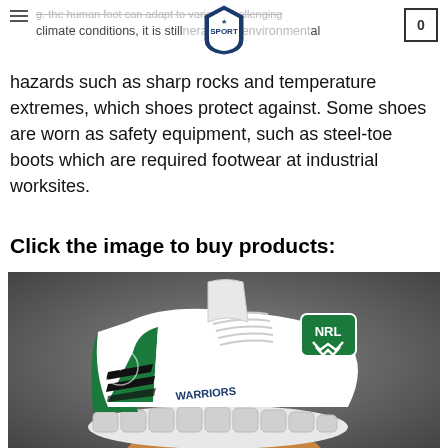climate conditions, it is still vulnerable to environmental hazards such as sharp rocks and temperature extremes, which shoes protect against.
hazards such as sharp rocks and temperature extremes, which shoes protect against. Some shoes are worn as safety equipment, such as steel-toe boots which are required footwear at industrial worksites.
Click the image to buy products:
[Figure (photo): NRL Warriors branded sneakers/shoes in white and green with NRL logo on the tongue and Warriors text on the side, held against a dark grey background.]